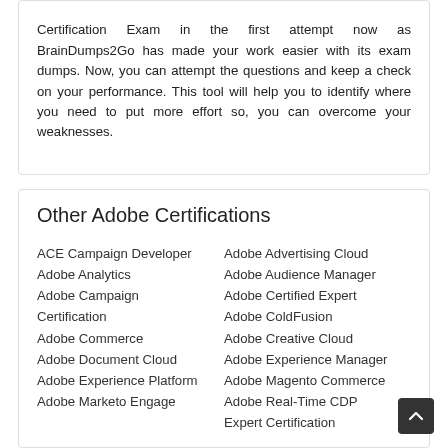Certification Exam in the first attempt now as BrainDumps2Go has made your work easier with its exam dumps. Now, you can attempt the questions and keep a check on your performance. This tool will help you to identify where you need to put more effort so, you can overcome your weaknesses.
Other Adobe Certifications
ACE Campaign Developer
Adobe Analytics
Adobe Campaign Certification
Adobe Commerce
Adobe Document Cloud
Adobe Experience Platform
Adobe Marketo Engage
Adobe Advertising Cloud
Adobe Audience Manager
Adobe Certified Expert
Adobe ColdFusion
Adobe Creative Cloud
Adobe Experience Manager
Adobe Magento Commerce
Adobe Real-Time CDP Expert Certification